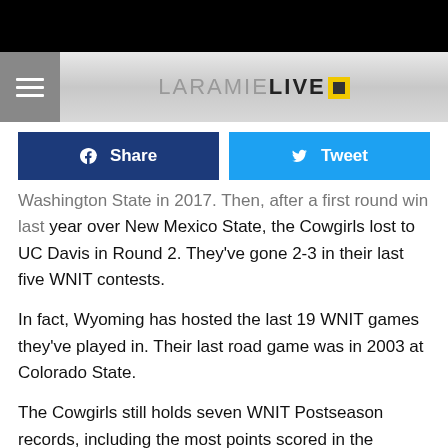LaramieLive
Washington State in 2017. Then, after a first round win last year over New Mexico State, the Cowgirls lost to UC Davis in Round 2. They've gone 2-3 in their last five WNIT contests.
In fact, Wyoming has hosted the last 19 WNIT games they've played in. Their last road game was in 2003 at Colorado State.
The Cowgirls still holds seven WNIT Postseason records, including the most points scored in the tournament with 452 points in 2007. They also have played in front of three of the 11 largest crowds WNIT Postseason history. The sellout in